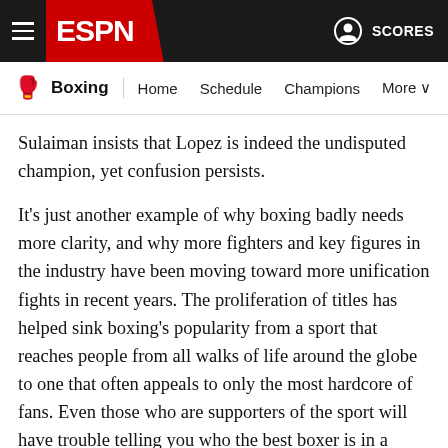ESPN Boxing — Home Schedule Champions More | SCORES
Sulaiman insists that Lopez is indeed the undisputed champion, yet confusion persists.
It's just another example of why boxing badly needs more clarity, and why more fighters and key figures in the industry have been moving toward more unification fights in recent years. The proliferation of titles has helped sink boxing's popularity from a sport that reaches people from all walks of life around the globe to one that often appeals to only the most hardcore of fans. Even those who are supporters of the sport will have trouble telling you who the best boxer is in a given division.
EDITOR'S PICKS
Fury-Wilder III scheduled for Oct. 9 in Las Vegas